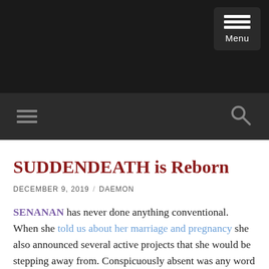Menu
[Figure (screenshot): Dark navigation bar with hamburger menu icon and search icon]
SUDDENDEATH is Reborn
DECEMBER 9, 2019 / DAEMON
SENANAN has never done anything conventional. When she told us about her marriage and pregnancy she also announced several active projects that she would be stepping away from. Conspicuously absent was any word about the future of her idol unit SUDDENDEATH.